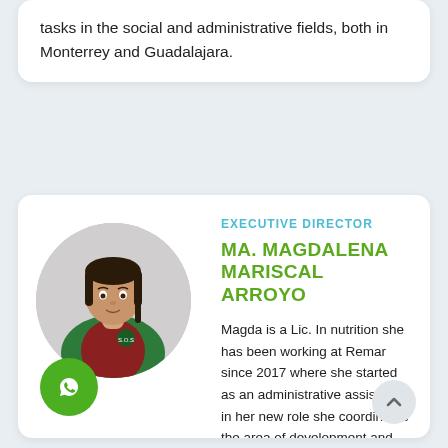tasks in the social and administrative fields, both in Monterrey and Guadalajara.
[Figure (photo): Portrait photo of Ma. Magdalena Mariscal Arroyo wearing a green vest with Remar logo]
EXECUTIVE DIRECTOR
MA. MAGDALENA MARISCAL ARROYO
Magda is a Lic. In nutrition she has been working at Remar since 2017 where she started as an administrative assistant, in her new role she coordinates the area of development and Institutional linkage.